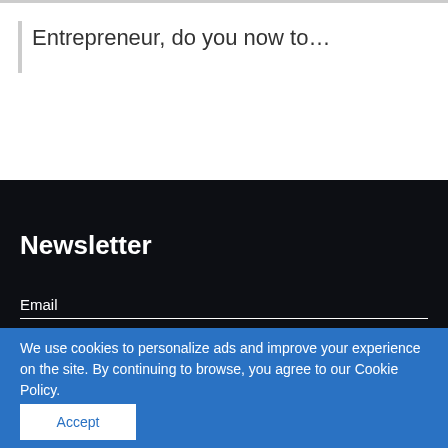Entrepreneur, do you now to…
Newsletter
Email
We use cookies to personalize ads and improve your experience on the site. By continuing to browse, you agree to our Cookie Policy.
Accept